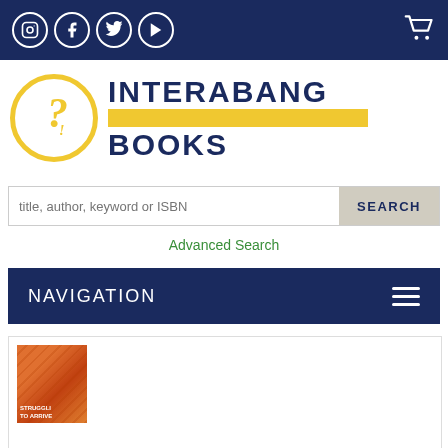[Figure (screenshot): Top navigation bar with social media icons (Instagram, Facebook, Twitter, YouTube) on the left and shopping cart icon on the right, on dark navy background]
[Figure (logo): Interabang Books logo: yellow circle with interrobang symbol, text INTERABANG with yellow bar underneath, then BOOKS in navy]
title, author, keyword or ISBN
SEARCH
Advanced Search
NAVIGATION
[Figure (photo): Partial book cover visible at bottom, orange/red tones with text fragments]